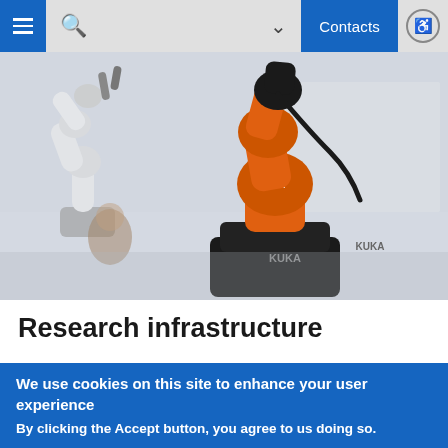≡  🔍  ∨  Contacts  ♿
[Figure (photo): Photo of two robotic arms (one white, one orange KUKA robot) in a lab or classroom setting. The orange KUKA arm is prominently in the foreground, with a black base labeled KUKA.]
Research infrastructure
17.11.2021
We use cookies on this site to enhance your user experience

By clicking the Accept button, you agree to us doing so.